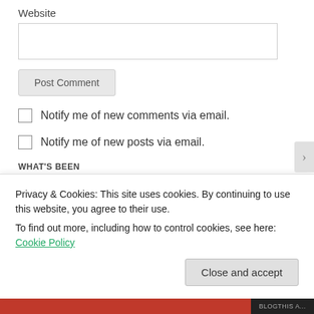Website
Post Comment
Notify me of new comments via email.
Notify me of new posts via email.
WHAT'S BEEN
Select Month
Privacy & Cookies: This site uses cookies. By continuing to use this website, you agree to their use.
To find out more, including how to control cookies, see here: Cookie Policy
Close and accept